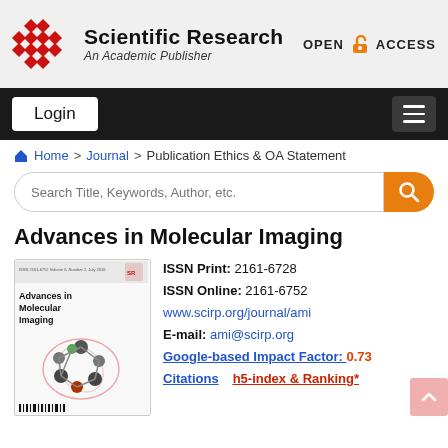Scientific Research An Academic Publisher | OPEN ACCESS
Login
Home > Journal > Publication Ethics & OA Statement
Search Title, Keywords, Author, etc.
Advances in Molecular Imaging
[Figure (photo): Journal cover for Advances in Molecular Imaging showing a molecular structure illustration]
ISSN Print: 2161-6728
ISSN Online: 2161-6752
www.scirp.org/journal/ami
E-mail: ami@scirp.org
Google-based Impact Factor: 0.73
Citations   h5-index & Ranking*